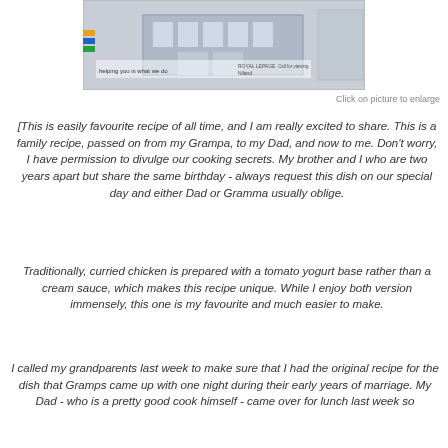[Figure (photo): Partial view of a building/advertisement photo at the top of the page]
Click on picture to enlarge
[This is easily favourite recipe of all time, and I am really excited to share.  This is a family recipe, passed on from my Grampa, to my Dad, and now to me.  Don't worry, I have permission to divulge our cooking secrets.  My brother and I who are two years apart but share the same birthday - always request this dish on our special day and either Dad or Gramma usually oblige.
Traditionally, curried chicken is prepared with a tomato yogurt base rather than a cream sauce, which makes this recipe unique.  While I enjoy both version immensely, this one is my favourite and much easier to make.
I called my grandparents last week to make sure that I had the original recipe for the dish that Gramps came up with one night during their early years of marriage.  My Dad - who is a pretty good cook himself - came over for lunch last week so